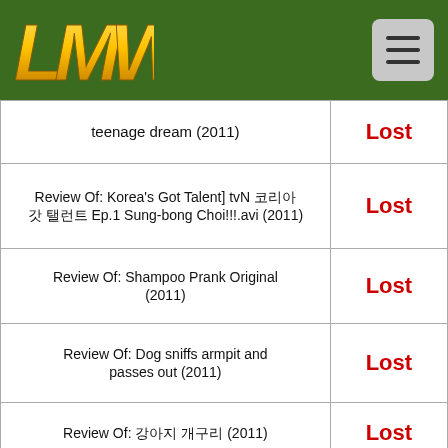LMW logo with hamburger menu
| Title | Status |
| --- | --- |
| teenage dream (2011) | Lost |
| Review Of: Korea's Got Talent] tvN 코리아 갓 탤런트 Ep.1 Sung-bong Choi!!!.avi (2011) | Lost |
| Review Of: Shampoo Prank Original (2011) | Lost |
| Review Of: Dog sniffs armpit and passes out (2011) | Lost |
| Review Of: 강아지 개구리 (2011) | Lost |
| Review Of: Annoying Orange – First Person Fruiter (2011) | Lost |
| Review Of: Baboon adopts bush baby (2011) | Lost |
| Review Of: Baby elephant plays to the camera (2011) | Lost |